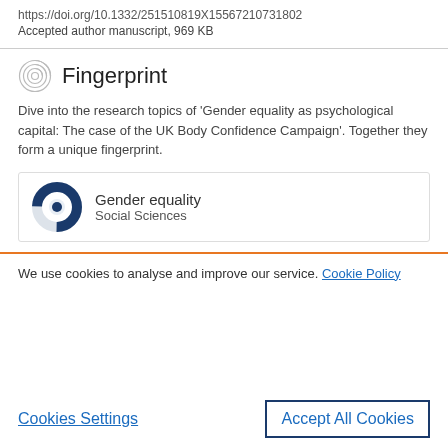https://doi.org/10.1332/251510819X15567210731802
Accepted author manuscript, 969 KB
Fingerprint
Dive into the research topics of 'Gender equality as psychological capital: The case of the UK Body Confidence Campaign'. Together they form a unique fingerprint.
[Figure (donut-chart): Donut chart showing approximately 75% fill in dark blue, representing Gender equality keyword weight]
Gender equality
Social Sciences
We use cookies to analyse and improve our service. Cookie Policy
Cookies Settings
Accept All Cookies